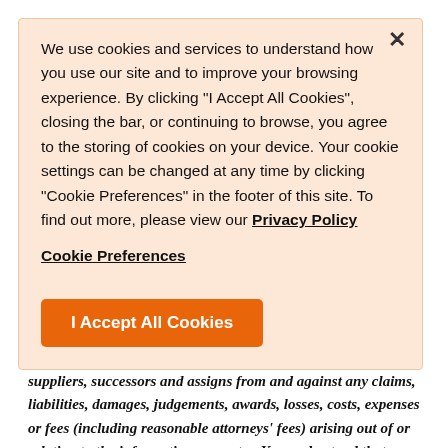[Figure (screenshot): Cookie consent overlay banner with orange background, close X button, cookie notice text with Privacy Policy link, Cookie Preferences link, and I Accept All Cookies orange button]
We use cookies and services to understand how you use our site and to improve your browsing experience. By clicking "I Accept All Cookies", closing the bar, or continuing to browse, you agree to the storing of cookies on your device. Your cookie settings can be changed at any time by clicking "Cookie Preferences" in the footer of this site. To find out more, please view our Privacy Policy
Cookie Preferences
I Accept All Cookies
suppliers, successors and assigns from and against any claims, liabilities, damages, judgements, awards, losses, costs, expenses or fees (including reasonable attorneys' fees) arising out of or relating to the information you enter. You understand that electronically signed documents have the same legal effect as hard copies with ink signatures. You understand that you may refuse to conduct other electronic